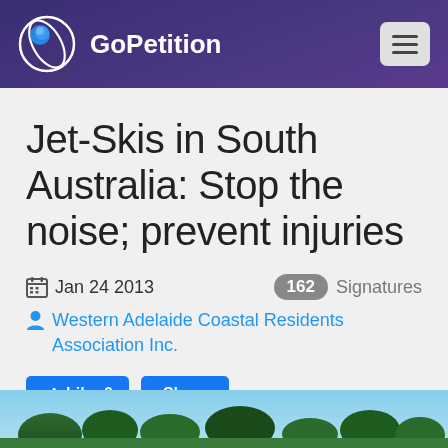GoPetition
Jet-Skis in South Australia: Stop the noise; prevent injuries
Jan 24 2013   162 Signatures
Western Adelaide Coastal Residents Association Inc.
Like 0   Share
[Figure (photo): Partial photo visible at bottom of page showing trees/landscape]